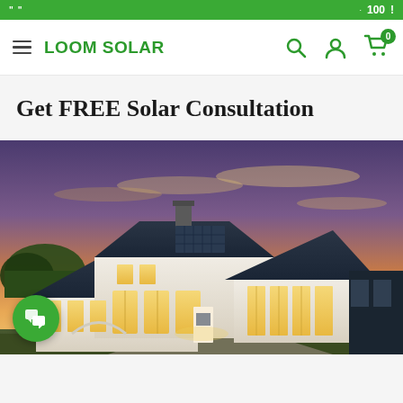100
Get FREE Solar Consultation
[Figure (photo): A large white modern farmhouse with solar panels on the dark metal roof, photographed at sunset with orange and purple sky in the background. The house has large windows, a porch, and is well-lit from inside.]